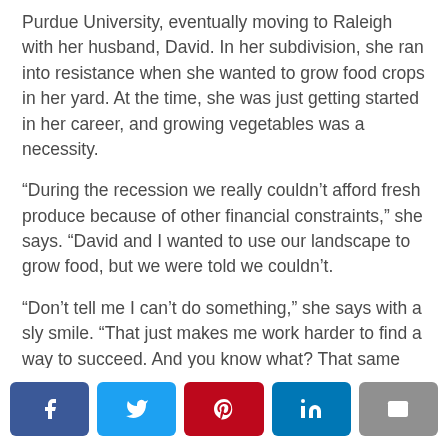Purdue University, eventually moving to Raleigh with her husband, David. In her subdivision, she ran into resistance when she wanted to grow food crops in her yard. At the time, she was just getting started in her career, and growing vegetables was a necessity.
“During the recession we really couldn’t afford fresh produce because of other financial constraints,” she says. “David and I wanted to use our landscape to grow food, but we were told we couldn’t.
“Don’t tell me I can’t do something,” she says with a sly smile. “That just makes me work harder to find a way to succeed. And you know what? That same subdivision’s HOA actually gave us Yard of the Year, and all the while, I was growing fruits and vegetables. They never even realized.”
[Figure (infographic): Social sharing bar with Facebook, Twitter, Pinterest, LinkedIn, and Email buttons]